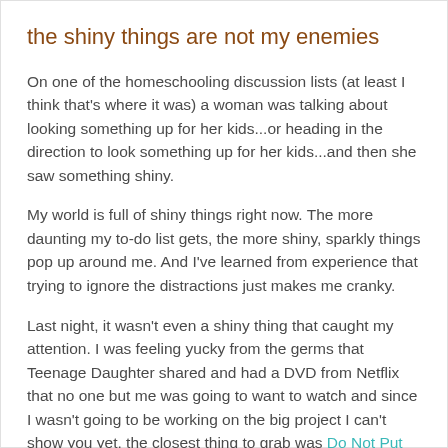the shiny things are not my enemies
On one of the homeschooling discussion lists (at least I think that's where it was) a woman was talking about looking something up for her kids...or heading in the direction to look something up for her kids...and then she saw something shiny.
My world is full of shiny things right now. The more daunting my to-do list gets, the more shiny, sparkly things pop up around me. And I've learned from experience that trying to ignore the distractions just makes me cranky.
Last night, it wasn't even a shiny thing that caught my attention. I was feeling yucky from the germs that Teenage Daughter shared and had a DVD from Netflix that no one but me was going to want to watch and since I wasn't going to be working on the big project I can't show you yet, the closest thing to grab was Do Not Put Your Elbows on the Table.